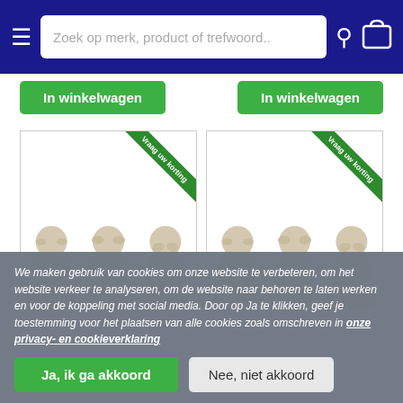Zoek op merk, product of trefwoord..
[Figure (screenshot): Two product cards showing three seated buddha/monk figurines each, with green diagonal 'Vraag uw korting' ribbon in top-right corner. White background product images.]
We maken gebruik van cookies om onze website te verbeteren, om het website verkeer te analyseren, om de website naar behoren te laten werken en voor de koppeling met social media. Door op Ja te klikken, geef je toestemming voor het plaatsen van alle cookies zoals omschreven in onze privacy- en cookieverklaring